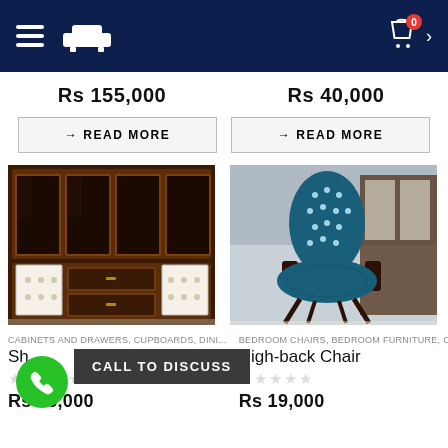[Figure (screenshot): Navigation bar with hamburger menu, sofa icon, cart icon with badge 0, and chevron]
Rs 155,000
Rs 40,000
→ READ MORE
→ READ MORE
[Figure (photo): Dark wood cabinet with glass doors and drawers]
[Figure (photo): High-back chair with blue tufted upholstery]
CABINETS AND DRAWERS, CUPBOARDS, DINI...
BEDROOM CHAIRS, BEDROOM FURNITURE, C...
Showcase
High-back Chair
Rs 26,000
Rs 19,000